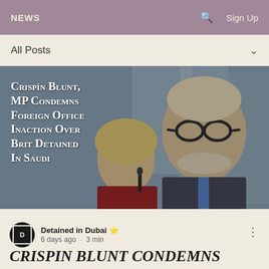NEWS   🔍   Sign Up
All Posts
[Figure (photo): Photo of two people — a woman with blonde bob hair in the foreground and a bald older man with glasses behind her. Overlay text reads: Crispín Blunt, MP condemns Foreign Office inaction over Brit detained in Saudi]
Detained in Dubai ⭐ 6 days ago · 3 min
CRISPIN BLUNT CONDEMNS FOREIGN OFFICE INACTION OVER CONSTITUENT DETAINED IN SAUDI ARABIA